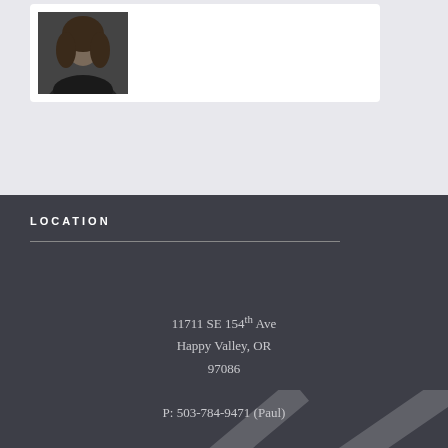[Figure (photo): Portrait photo of a woman with long dark hair, wearing a dark top, shown from shoulders up.]
LOCATION
11711 SE 154th Ave
Happy Valley, OR
97086
P: 503-784-9471 (Paul)